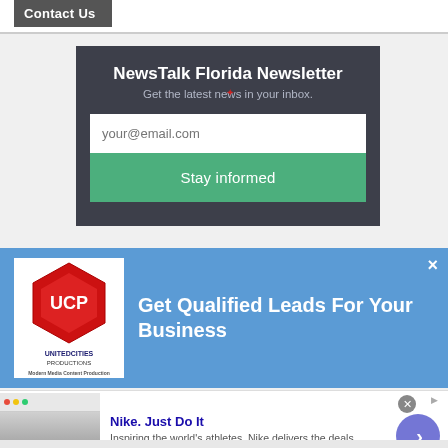Contact Us
NewsTalk Florida Newsletter
Get the latest news in your inbox.
your@email.com
Stay informed
[Figure (other): United Cities Productions logo and ad banner: Get Qualified Leads For Your Business]
Get Qualified Leads For Your Business
[Figure (other): Nike advertisement: Nike. Just Do It - Inspiring the world's athletes, Nike delivers the deals - www.nike.com]